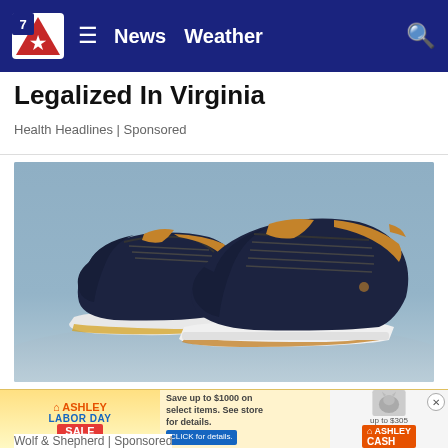News  Weather
Legalized In Virginia
Health Headlines | Sponsored
[Figure (photo): Product photo of two dark navy blue knit sneakers with tan leather accents at collar and tongue, white sole, on a light blue sandy surface background. Gronk's Favorite Dressy Shoes.]
Gronk's Favorite "Dressy" Shoes Feel Like Walking On Clouds
Wolf & Shepherd | Sponsored